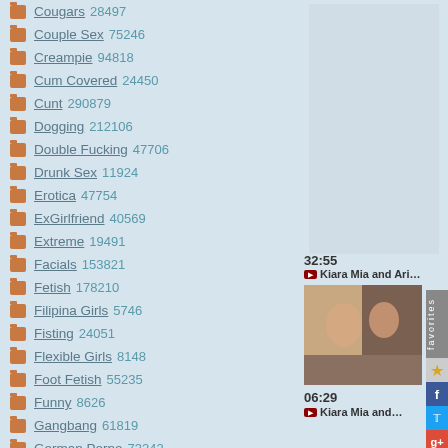Cougars 28497
Couple Sex 75246
Creampie 94818
Cum Covered 24450
Cunt 290879
Dogging 212106
Double Fucking 47706
Drunk Sex 11924
Erotica 47754
ExGirlfriend 40569
Extreme 19491
Facials 153821
Fetish 178210
Filipina Girls 5746
Fisting 24051
Flexible Girls 8148
Foot Fetish 55235
Funny 8626
Gangbang 61819
German Porno 73242
32:55
Kiara Mia and Ariana M...
[Figure (photo): Video thumbnail showing two women]
06:29
Kiara Mia and Ariana M...